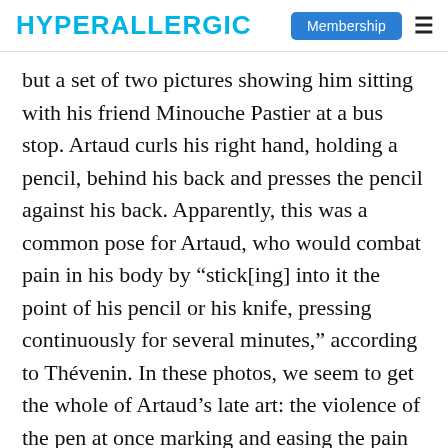HYPERALLERGIC | Membership
but a set of two pictures showing him sitting with his friend Minouche Pastier at a bus stop. Artaud curls his right hand, holding a pencil, behind his back and presses the pencil against his back. Apparently, this was a common pose for Artaud, who would combat pain in his body by “stick[ing] into it the point of his pencil or his knife, pressing continuously for several minutes,” according to Thévenin. In these photos, we seem to get the whole of Artaud’s late art: the violence of the pen at once marking and easing the pain of the body.